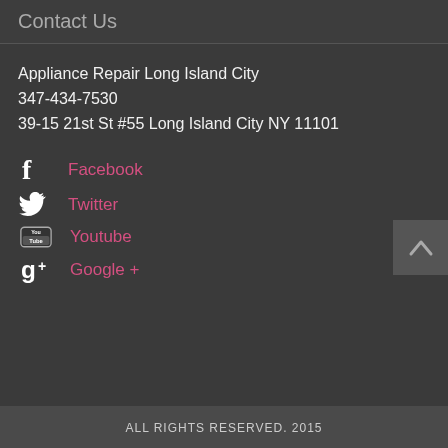Contact Us
Appliance Repair Long Island City
347-434-7530
39-15 21st St #55 Long Island City NY 11101
Facebook
Twitter
Youtube
Google +
ALL RIGHTS RESERVED. 2015